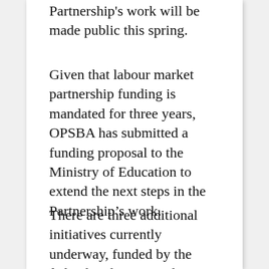Partnership's work will be made public this spring.
Given that labour market partnership funding is mandated for three years, OPSBA has submitted a funding proposal to the Ministry of Education to extend the next steps in the Partnership’s work.
There are three additional initiatives currently underway, funded by the federal and provincial government through the Department of Canadian